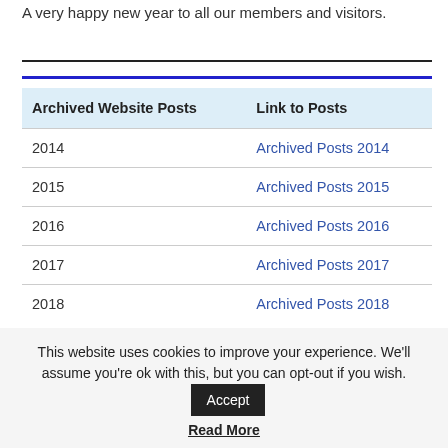A very happy new year to all our members and visitors.
| Archived Website Posts | Link to Posts |
| --- | --- |
| 2014 | Archived Posts 2014 |
| 2015 | Archived Posts 2015 |
| 2016 | Archived Posts 2016 |
| 2017 | Archived Posts 2017 |
| 2018 | Archived Posts 2018 |
This website uses cookies to improve your experience. We'll assume you're ok with this, but you can opt-out if you wish.
Read More